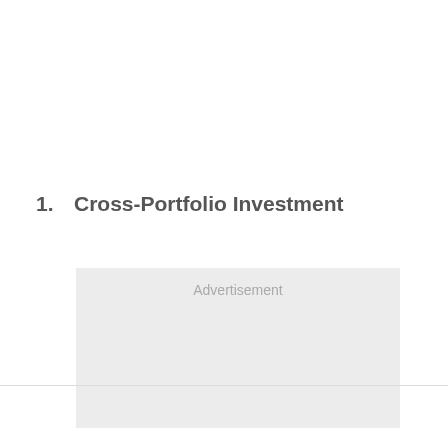1.   Cross-Portfolio Investment
[Figure (other): Advertisement placeholder box with light gray background and 'Advertisement' label text]